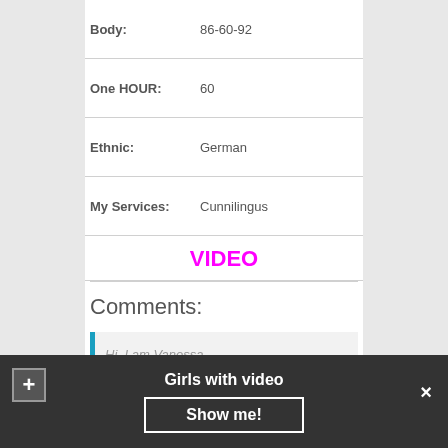| Field | Value |
| --- | --- |
| Body: | 86-60-92 |
| One HOUR: | 60 |
| Ethnic: | German |
| My Services: | Cunnilingus |
VIDEO
Comments:
Hi, I am Vanessa
To invite angel is very simple. Just send a
Girls with video  Show me!